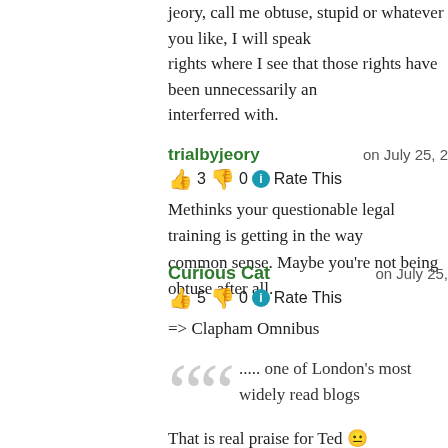jeory, call me obtuse, stupid or whatever you like, I will speak rights where I see that those rights have been unnecessarily and interferred with.
trialbyjeory on July 25, 2
👍 3 👎 0 ℹ Rate This
Methinks your questionable legal training is getting in the way of common sense. Maybe you're not being obtuse after all.
Curious Cat on July 25,
👍 5 👎 0 ℹ Rate This
=> Clapham Omnibus
..... one of London's most widely read blogs
That is real praise for Ted 😐
Meic is entitled to his private life. We should have re such a basic human right.